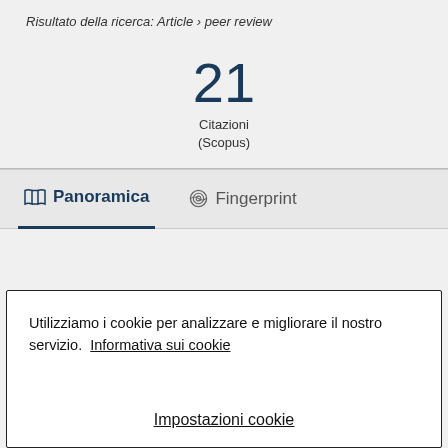Risultato della ricerca: Article › peer review
21
Citazioni
(Scopus)
Panoramica   Fingerprint
Utilizziamo i cookie per analizzare e migliorare il nostro servizio. Informativa sui cookie
Impostazioni cookie